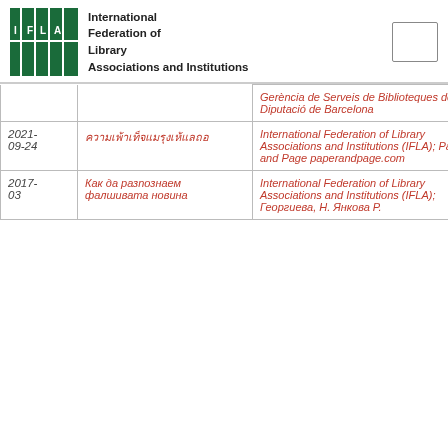International Federation of Library Associations and Institutions
| Date | Title | Organization |
| --- | --- | --- |
|  |  | Gerència de Serveis de Biblioteques de la Diputació de Barcelona |
| 2021-09-24 | ภาษาไทย (placeholder) | International Federation of Library Associations and Institutions (IFLA); Paper and Page paperandpage.com |
| 2017-03 | Как да разпознаем фалшивата новина | International Federation of Library Associations and Institutions (IFLA); Георгиева, Н. Янкова Р. |